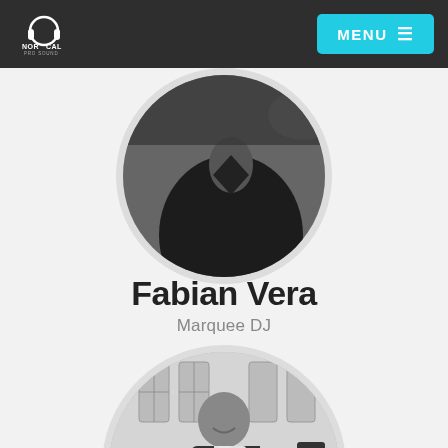NorCal Pro Sound — MENU
[Figure (photo): Circular black and white photo of a person (cropped, only lower face/body visible) with dark clothing, gray circular border]
Fabian Vera
Marquee DJ
[Figure (photo): Circular black and white photo of a smiling man in a vest and white shirt standing at a DJ booth in a formal venue]